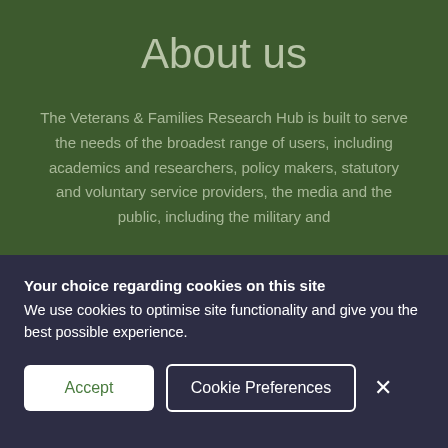About us
The Veterans & Families Research Hub is built to serve the needs of the broadest range of users, including academics and researchers, policy makers, statutory and voluntary service providers, the media and the public, including the military and
Your choice regarding cookies on this site
We use cookies to optimise site functionality and give you the best possible experience.
Accept | Cookie Preferences | ×